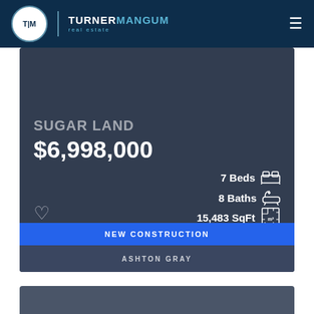Turner Mangum Real Estate
SUGAR LAND
$6,998,000
7 Beds
8 Baths
15,483 SqFt
NEW CONSTRUCTION
ASHTON GRAY
3452 ELLA LEE LN, HOUSTON